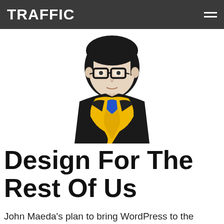TRAFFIC
[Figure (illustration): Stylized illustration of John Maeda — a man with glasses and short black hair wearing a black jacket with a bright yellow scarf and a blue shirt visible at the collar, depicted in a minimal flat graphic style.]
Design For The Rest Of Us
John Maeda's plan to bring WordPress to the